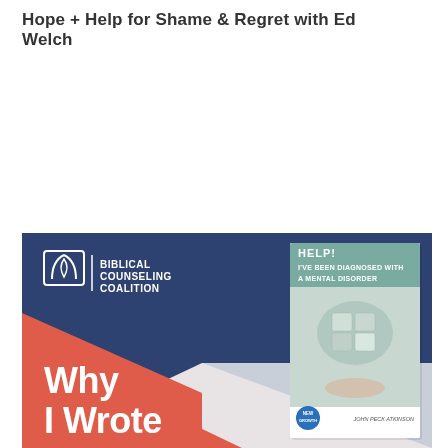Hope + Help for Shame & Regret with Ed Welch
[Figure (illustration): Biblical Counseling Coalition branded banner image with navy and coral/red geometric shapes. Top left shows the BCC logo (open book icon) and text 'BIBLICAL COUNSELING COALITION'. Bottom left shows large white bold text 'Why I Wrote'. Right side shows a small book card with teal header reading 'HELP! I'VE BEEN DIAGNOSED WITH A MENTAL DISORDER' with a puzzle-piece brain image on the cover.]